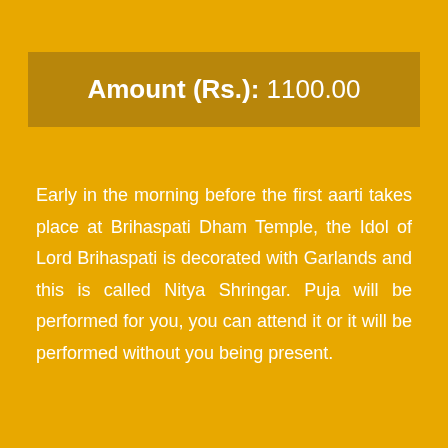Amount (Rs.): 1100.00
Early in the morning before the first aarti takes place at Brihaspati Dham Temple, the Idol of Lord Brihaspati is decorated with Garlands and this is called Nitya Shringar. Puja will be performed for you, you can attend it or it will be performed without you being present.